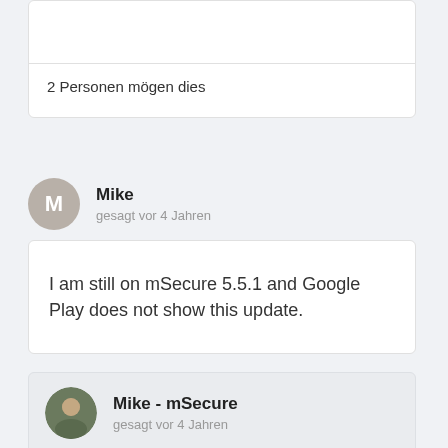2 Personen mögen dies
Mike
gesagt vor 4 Jahren
I am still on mSecure 5.5.1 and Google Play does not show this update.
Mike - mSecure
gesagt vor 4 Jahren